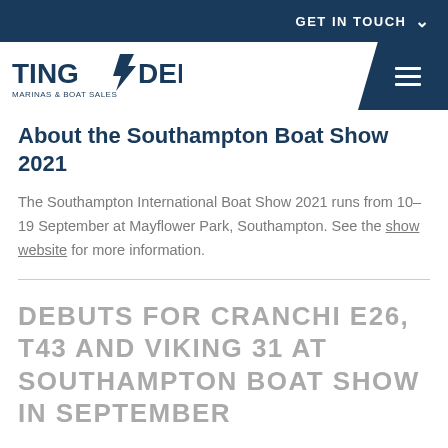GET IN TOUCH
[Figure (logo): Tingdene Marinas & Boat Sales logo with hamburger menu icon]
About the Southampton Boat Show 2021
The Southampton International Boat Show 2021 runs from 10-19 September at Mayflower Park, Southampton. See the show website for more information.
DEBUTS FOR CRANCHI E26, T43 AND VIKING 31 AT SOUTHAMPTON BOAT SHOW IN SEPTEMBER
Published 23rd August 2019